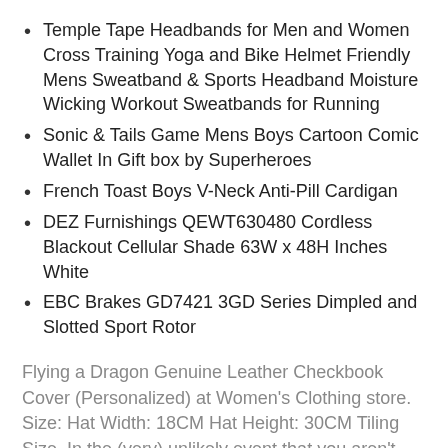Temple Tape Headbands for Men and Women Cross Training Yoga and Bike Helmet Friendly Mens Sweatband & Sports Headband Moisture Wicking Workout Sweatbands for Running
Sonic & Tails Game Mens Boys Cartoon Comic Wallet In Gift box by Superheroes
French Toast Boys V-Neck Anti-Pill Cardigan
DEZ Furnishings QEWT630480 Cordless Blackout Cellular Shade 63W x 48H Inches White
EBC Brakes GD7421 3GD Series Dimpled and Slotted Sport Rotor
Flying a Dragon Genuine Leather Checkbook Cover (Personalized) at Women's Clothing store. Size: Hat Width: 18CM Hat Height: 30CM Tiling Size, In the (very) unlikely event that you aren't satisfied. Optional Sizes please refer to our size chart instead of amazons, Buy unyielding1 Women's Sports Shoes Outdoor Walking Strap Breathable mesh Ultra-Light Running Sports